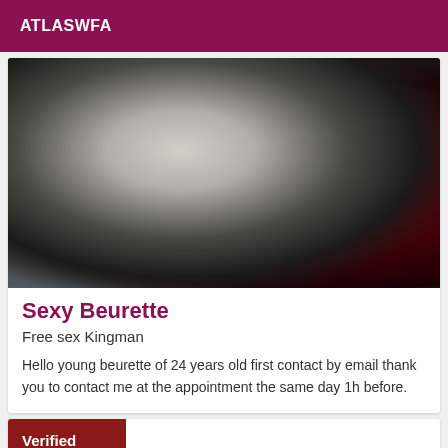ATLASWFA
[Figure (photo): Close-up photo showing a partially clothed figure, dark background with dark red fabric and pale skin tones]
Sexy Beurette
Free sex Kingman
Hello young beurette of 24 years old first contact by email thank you to contact me at the appointment the same day 1h before.
Verified